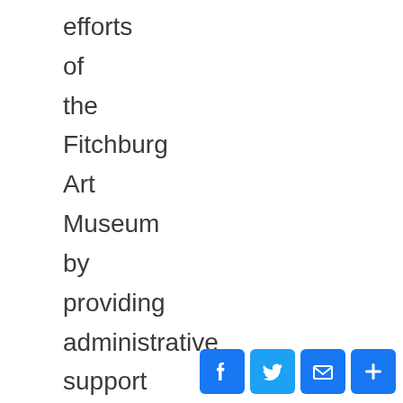efforts
of
the
Fitchburg
Art
Museum
by
providing
administrative
support
in
the
development
department,
primarily
through
gifts
[Figure (infographic): Social sharing buttons: Facebook (f), Twitter (bird), Email (envelope), More (+)]